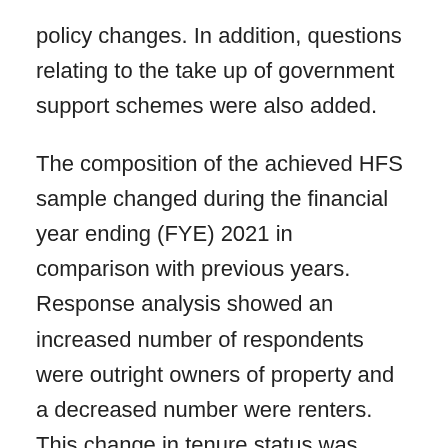policy changes. In addition, questions relating to the take up of government support schemes were also added.
The composition of the achieved HFS sample changed during the financial year ending (FYE) 2021 in comparison with previous years. Response analysis showed an increased number of respondents were outright owners of property and a decreased number were renters. This change in tenure status was accounted for through additional weighting to ensure that the survey sample remained an accurate representation of the UK population.
The weightings were applied for a range of f…